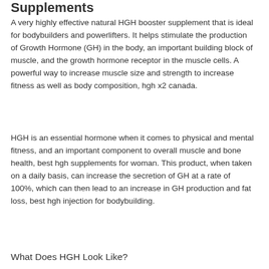Supplements
A very highly effective natural HGH booster supplement that is ideal for bodybuilders and powerlifters. It helps stimulate the production of Growth Hormone (GH) in the body, an important building block of muscle, and the growth hormone receptor in the muscle cells. A powerful way to increase muscle size and strength to increase fitness as well as body composition, hgh x2 canada.
HGH is an essential hormone when it comes to physical and mental fitness, and an important component to overall muscle and bone health, best hgh supplements for woman. This product, when taken on a daily basis, can increase the secretion of GH at a rate of 100%, which can then lead to an increase in GH production and fat loss, best hgh injection for bodybuilding.
What Does HGH Look Like?